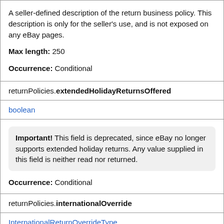A seller-defined description of the return business policy. This description is only for the seller's use, and is not exposed on any eBay pages.

Max length: 250

Occurrence: Conditional
returnPolicies.extendedHolidayReturnsOffered
boolean
Important! This field is deprecated, since eBay no longer supports extended holiday returns. Any value supplied in this field is neither read nor returned.

Occurrence: Conditional
returnPolicies.internationalOverride
InternationalReturnOverrideType